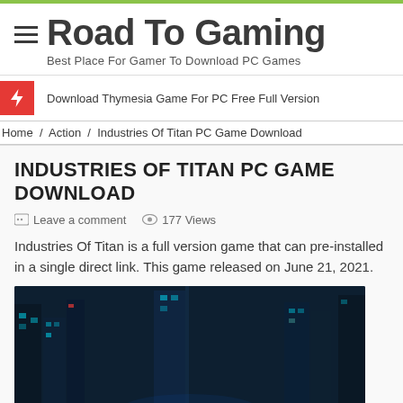Road To Gaming — Best Place For Gamer To Download PC Games
Download Thymesia Game For PC Free Full Version
Home / Action / Industries Of Titan PC Game Download
INDUSTRIES OF TITAN PC GAME DOWNLOAD
Leave a comment   177 Views
Industries Of Titan is a full version game that can pre-installed in a single direct link. This game released on June 21, 2021.
[Figure (screenshot): Game cover art for Industries of Titan showing a dark cyberpunk cityscape with the game title in golden letters]